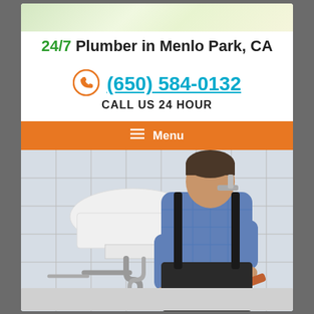24/7 Plumber in Menlo Park, CA
(650) 584-0132
CALL US 24 HOUR
Menu
[Figure (photo): A plumber in a blue plaid shirt working under a bathroom sink, tightening pipes with a wrench in a tiled bathroom.]